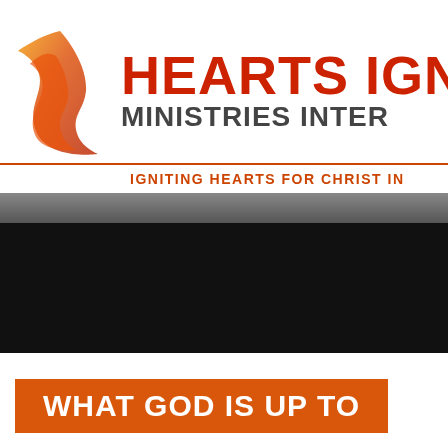[Figure (logo): Hearts Ignited Ministries International logo with flame graphic and red text]
IGNITING HEARTS FOR CHRIST IN...
[Figure (photo): Dark navigation/hero band area]
WHAT GOD IS UP TO
"I JUST DON'T KNOW IF GOD CAN EVEN USE ME"